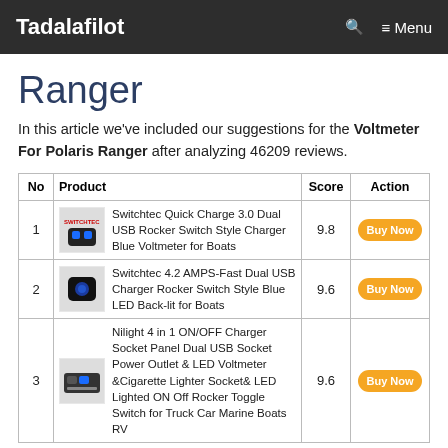Tadalafilot  🔍  ≡ Menu
Ranger
In this article we've included our suggestions for the Voltmeter For Polaris Ranger after analyzing 46209 reviews.
| No | Product | Score | Action |
| --- | --- | --- | --- |
| 1 | Switchtec Quick Charge 3.0 Dual USB Rocker Switch Style Charger Blue Voltmeter for Boats | 9.8 | Buy Now |
| 2 | Switchtec 4.2 AMPS-Fast Dual USB Charger Rocker Switch Style Blue LED Back-lit for Boats | 9.6 | Buy Now |
| 3 | Nilight 4 in 1 ON/OFF Charger Socket Panel Dual USB Socket Power Outlet & LED Voltmeter &Cigarette Lighter Socket& LED Lighted ON Off Rocker Toggle Switch for Truck Car Marine Boats RV | 9.6 | Buy Now |